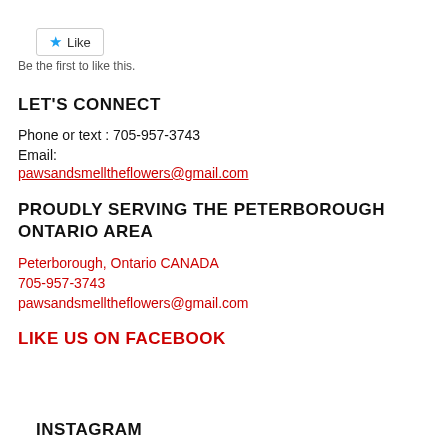[Figure (other): Like button widget with blue star icon and 'Like' text, with border]
Be the first to like this.
LET'S CONNECT
Phone or text : 705-957-3743
Email:
pawsandsmelltheflowers@gmail.com
PROUDLY SERVING THE PETERBOROUGH ONTARIO AREA
Peterborough, Ontario CANADA
705-957-3743
pawsandsmelltheflowers@gmail.com
LIKE US ON FACEBOOK
INSTAGRAM